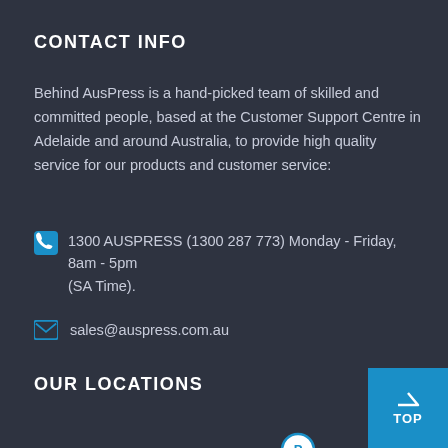CONTACT INFO
Behind AusPress is a hand-picked team of skilled and committed people, based at the Customer Support Centre in Adelaide and around Australia, to provide high quality service for our products and customer service:
1300 AUSPRESS (1300 287 773) Monday - Friday, 8am - 5pm (SA Time).
sales@auspress.com.au
OUR LOCATIONS
[Figure (map): Map of Australia showing location marker in the northern region with a 'P' logo marker icon]